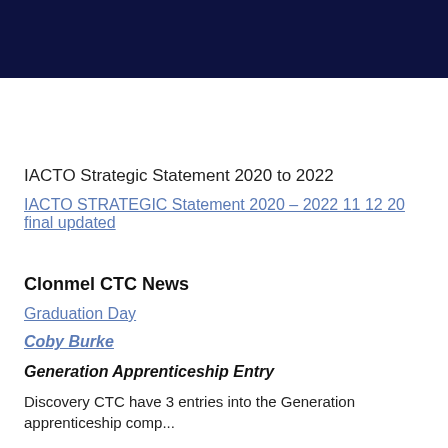[Figure (other): Dark navy blue banner at top of page]
IACTO Strategic Statement 2020 to 2022
IACTO STRATEGIC Statement 2020 – 2022 11 12 20 final updated
Clonmel CTC News
Graduation Day
Coby Burke
Generation Apprenticeship Entry
Discovery CTC have 3 entries into the Generation apprenticeship comp...